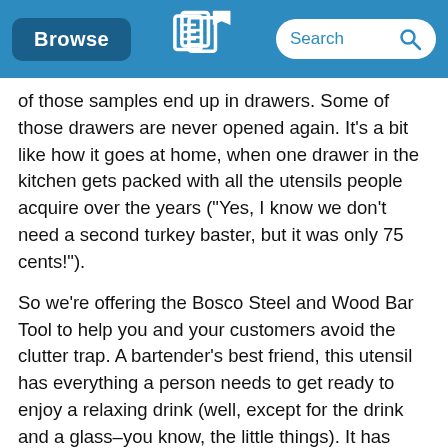Browse | [Logo] | Search
of those samples end up in drawers. Some of those drawers are never opened again. It's a bit like how it goes at home, when one drawer in the kitchen gets packed with all the utensils people acquire over the years ("Yes, I know we don't need a second turkey baster, but it was only 75 cents!").
So we're offering the Bosco Steel and Wood Bar Tool to help you and your customers avoid the clutter trap. A bartender's best friend, this utensil has everything a person needs to get ready to enjoy a relaxing drink (well, except for the drink and a glass–you know, the little things). It has three functions:
A bottle opener
A corkscrew